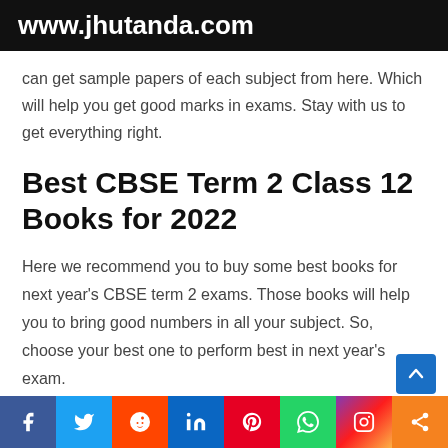www.jhutanda.com
can get sample papers of each subject from here. Which will help you get good marks in exams. Stay with us to get everything right.
Best CBSE Term 2 Class 12 Books for 2022
Here we recommend you to buy some best books for next year's CBSE term 2 exams. Those books will help you to bring good numbers in all your subject. So, choose your best one to perform best in next year's exam.